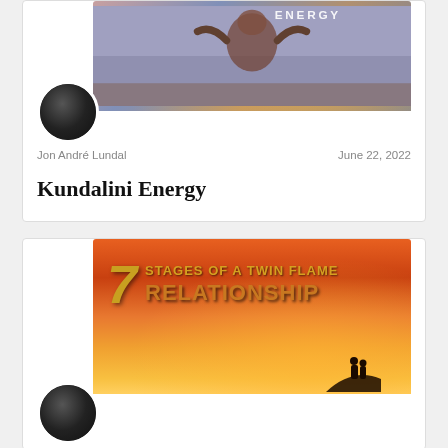[Figure (illustration): Article card with header image for Kundalini Energy post showing cosmic/mystical imagery with text overlay]
Jon André Lundal
June 22, 2022
Kundalini Energy
[Figure (illustration): Article card with header image for 7 Stages of a Twin Flame Relationship post showing silhouetted couple against orange sunset sky]
7 STAGES OF A TWIN FLAME RELATIONSHIP